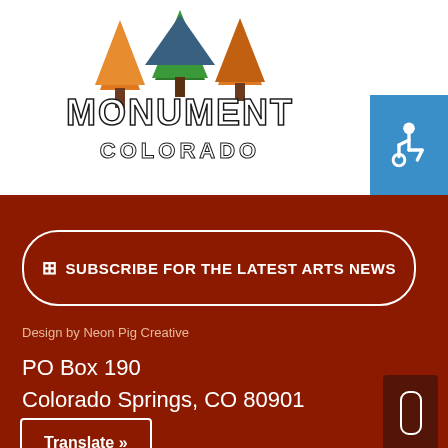[Figure (logo): Monument Colorado town logo with illustrated trees and mountains, text 'MONUMENT COLORADO' in stylized font]
[Figure (other): Accessibility icon button (wheelchair symbol) in blue square, top right corner]
SUBSCRIBE FOR THE LATEST ARTS NEWS
Design by Neon Pig Creative
PO Box 190
Colorado Springs, CO 80901
Translate »